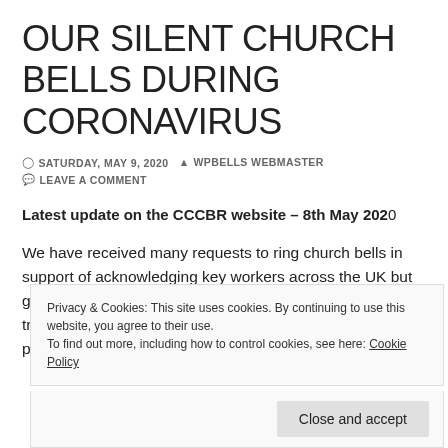OUR SILENT CHURCH BELLS DURING CORONAVIRUS
SATURDAY, MAY 9, 2020   WPBELLS WEBMASTER   LEAVE A COMMENT
Latest update on the CCCBR website – 8th May 2020
We have received many requests to ring church bells in support of acknowledging key workers across the UK but given the need for social distancing and non essential travel, as well as churches being shut, this has not been possible.
Privacy & Cookies: This site uses cookies. By continuing to use this website, you agree to their use.
To find out more, including how to control cookies, see here: Cookie Policy
Close and accept